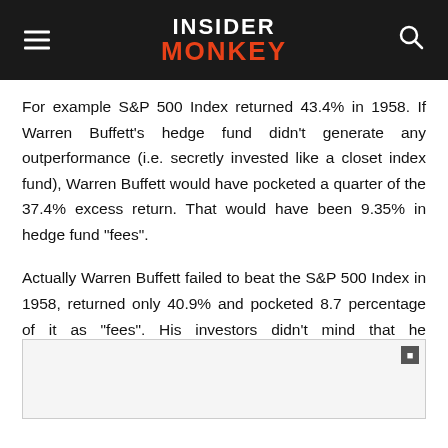INSIDER MONKEY
For example S&P 500 Index returned 43.4% in 1958. If Warren Buffett’s hedge fund didn’t generate any outperformance (i.e. secretly invested like a closet index fund), Warren Buffett would have pocketed a quarter of the 37.4% excess return. That would have been 9.35% in hedge fund “fees”.
Actually Warren Buffett failed to beat the S&P 500 Index in 1958, returned only 40.9% and pocketed 8.7 percentage of it as “fees”. His investors didn’t mind that he underperformed the market in 1958 because he b[obscured] That year[obscured]uffett